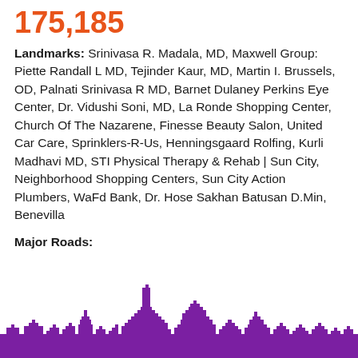175,185
Landmarks: Srinivasa R. Madala, MD, Maxwell Group: Piette Randall L MD, Tejinder Kaur, MD, Martin I. Brussels, OD, Palnati Srinivasa R MD, Barnet Dulaney Perkins Eye Center, Dr. Vidushi Soni, MD, La Ronde Shopping Center, Church Of The Nazarene, Finesse Beauty Salon, United Car Care, Sprinklers-R-Us, Henningsgaard Rolfing, Kurli Madhavi MD, STI Physical Therapy & Rehab | Sun City, Neighborhood Shopping Centers, Sun City Action Plumbers, WaFd Bank, Dr. Hose Sakhan Batusan D.Min, Benevilla
Major Roads:
[Figure (illustration): Purple city skyline silhouette along the bottom of the page]